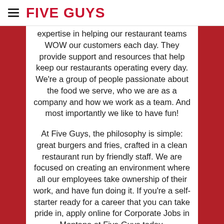FIVE GUYS
expertise in helping our restaurant teams WOW our customers each day. They provide support and resources that help keep our restaurants operating every day. We're a group of people passionate about the food we serve, who we are as a company and how we work as a team. And most importantly we like to have fun!
At Five Guys, the philosophy is simple: great burgers and fries, crafted in a clean restaurant run by friendly staff. We are focused on creating an environment where all our employees take ownership of their work, and have fun doing it. If you're a self-starter ready for a career that you can take pride in, apply online for Corporate Jobs in Montana at Five Guys today.